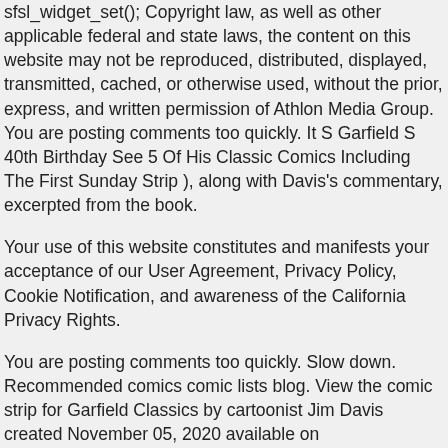sfsl_widget_set(); Copyright law, as well as other applicable federal and state laws, the content on this website may not be reproduced, distributed, displayed, transmitted, cached, or otherwise used, without the prior, express, and written permission of Athlon Media Group. You are posting comments too quickly. It S Garfield S 40th Birthday See 5 Of His Classic Comics Including The First Sunday Strip ), along with Davis's commentary, excerpted from the book.
Your use of this website constitutes and manifests your acceptance of our User Agreement, Privacy Policy, Cookie Notification, and awareness of the California Privacy Rights.
You are posting comments too quickly. Slow down. Recommended comics comic lists blog. View the comic strip for Garfield Classics by cartoonist Jim Davis created November 05, 2020 available on GoComics.com, View the comic strip for Garfield Classics by cartoonist Jim Davis created November 12, 2020 available on GoComics.com, View the comic strip for Garfield by cartoonist Jim Davis created November 14, 2020 available on GoComics.com, View the comic strip for Garfield Classics by cartoonist Jim Davis created November 16, 2020 available on GoComics.com, View the comic strip for Garfield Classics by cartoonist Jim Davis created November 19, 2020 available on GoComics.com, View the comic strip for Garfield Classics by